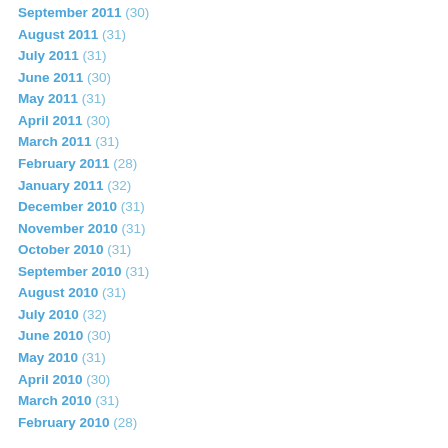September 2011 (30)
August 2011 (31)
July 2011 (31)
June 2011 (30)
May 2011 (31)
April 2011 (30)
March 2011 (31)
February 2011 (28)
January 2011 (32)
December 2010 (31)
November 2010 (31)
October 2010 (31)
September 2010 (31)
August 2010 (31)
July 2010 (32)
June 2010 (30)
May 2010 (31)
April 2010 (30)
March 2010 (31)
February 2010 (28)